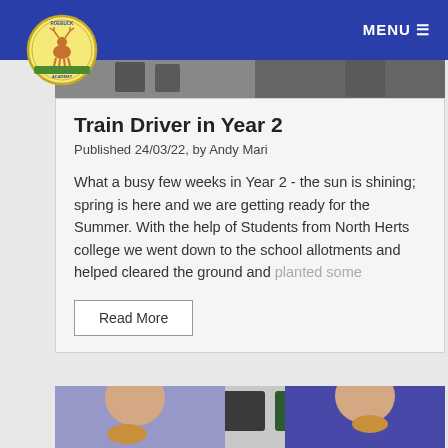MENU ☰
[Figure (photo): School logo - circular badge with deer illustration and text 'Roebuck Academy']
[Figure (photo): Photo strip showing children in classroom at top of article card]
Train Driver in Year 2
Published 24/03/22, by Andy Mari
What a busy few weeks in Year 2 - the sun is shining; spring is here and we are getting ready for the Summer. With the help of Students from North Herts college we went down to the school allotments and helped cleared the ground and planted some
Read More
[Figure (photo): Two young children in blue school uniforms eating food, seated at a table in a classroom]